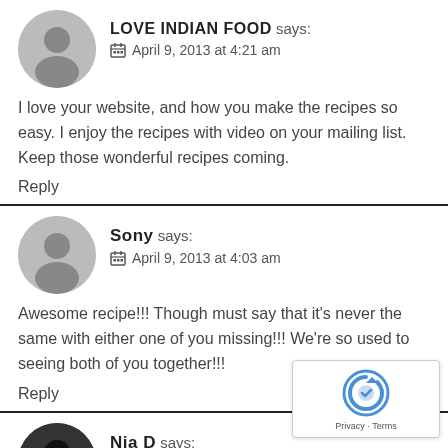LOVE INDIAN FOOD says:
April 9, 2013 at 4:21 am
I love your website, and how you make the recipes so easy. I enjoy the recipes with video on your mailing list. Keep those wonderful recipes coming.
Reply
Sony says:
April 9, 2013 at 4:03 am
Awesome recipe!!! Though must say that it's never the same with either one of you missing!!! We're so used to seeing both of you together!!!
Reply
Nia D says:
April 9, 2013 at 2:47 am